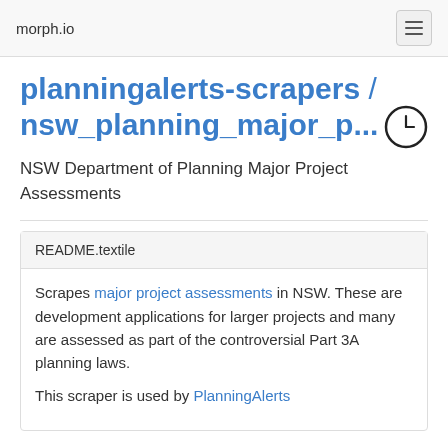morph.io
planningalerts-scrapers / nsw_planning_major_p...
NSW Department of Planning Major Project Assessments
README.textile
Scrapes major project assessments in NSW. These are development applications for larger projects and many are assessed as part of the controversial Part 3A planning laws.

This scraper is used by PlanningAlerts